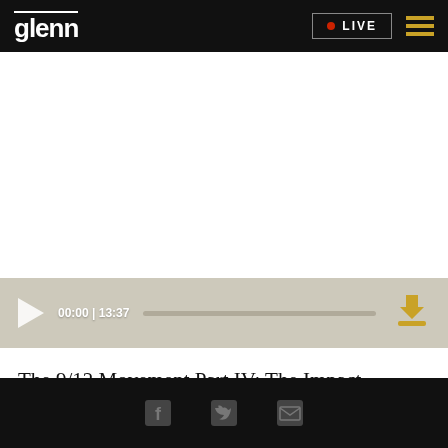glenn  •LIVE  ≡
[Figure (screenshot): Audio player bar with play button, time display 00:00 | 13:37, progress bar, and download icon on a beige/tan background]
The 9/12 Movement Part IV: The Impact
Social icons: Facebook, Twitter, Email